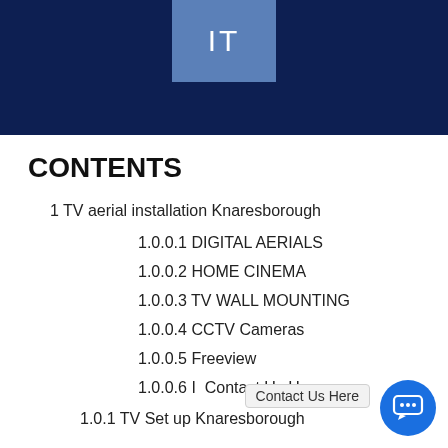IT
CONTENTS
1 TV aerial installation Knaresborough
1.0.0.1 DIGITAL AERIALS
1.0.0.2 HOME CINEMA
1.0.0.3 TV WALL MOUNTING
1.0.0.4 CCTV Cameras
1.0.0.5 Freeview
1.0.0.6 I  Contact Us Here
1.0.1 TV Set up Knaresborough